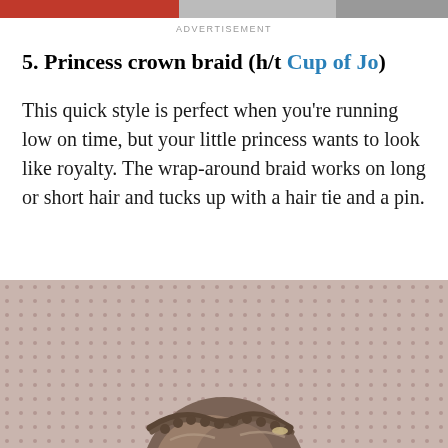[Figure (photo): Top strip showing partial images with red and grey tones]
ADVERTISEMENT
5. Princess crown braid (h/t Cup of Jo)
This quick style is perfect when you're running low on time, but your little princess wants to look like royalty. The wrap-around braid works on long or short hair and tucks up with a hair tie and a pin.
[Figure (photo): Photo of a child's back of head showing a princess crown braid hairstyle against a pink/mauve dotted background]